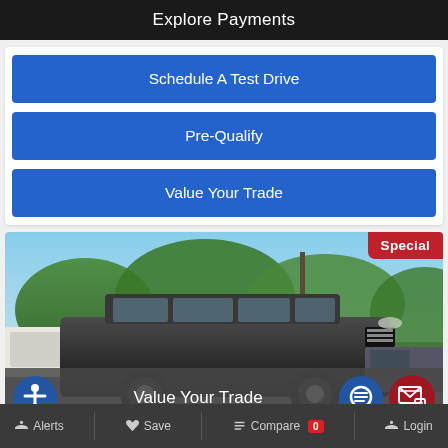Explore Payments
Schedule A Test Drive
Pre-Qualify
Value Your Trade
[Figure (photo): A dark gray SUV (appears to be a Mitsubishi Outlander) photographed in a dealership lot with trees in the background. A 'Special' badge appears in the top right corner. An overlay bar at the bottom shows 'Value Your Trade' text with accessibility, chat, and messaging icons.]
Alerts  Save  Compare 0  Login